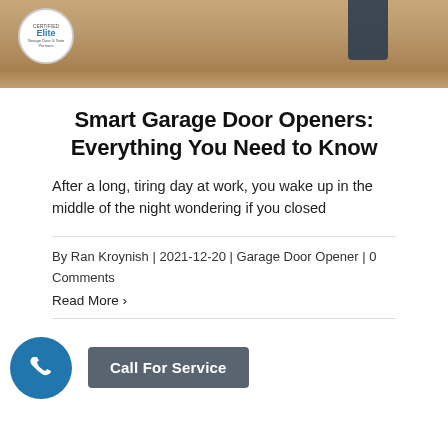[Figure (photo): Hero image showing garage/wood background with Elite badge logo on left and dark shape on right]
Smart Garage Door Openers: Everything You Need to Know
After a long, tiring day at work, you wake up in the middle of the night wondering if you closed
By Ran Kroynish | 2021-12-20 | Garage Door Opener | 0 Comments
Read More >